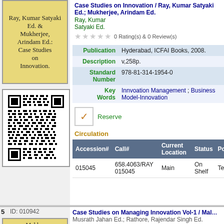[Figure (illustration): Yellow book cover with text: Ray, Kumar Satyaki Ed. & Mukherjee, Arindam Ed.: Case Studies on Innovation.]
[Figure (other): QR code for the book record]
Case Studies on Innovation / Ray, Kumar Satyaki Ed.; Mukherjee, Arindam Ed.
Ray, Kumar Satyaki Ed.
0 Rating(s) & 0 Review(s)
| Publication | Hyderabad, ICFAI Books, 2008. |
| Description | v,258p. |
| Standard Number | 978-81-314-1954-0 |
| Key Words | Innvoation Management ; Business Model-Innovation |
Reserve
Circulation
| Accession# | Call# | Current Location | Status | Polic |
| --- | --- | --- | --- | --- |
| 015045 | 658.4063/RAY 015045 | Main | On Shelf | Text |
5   ID: 010942
[Figure (illustration): Yellow book cover with text: Maldar, Musrath Jahan Ed. & Rathore, Rajendar]
Case Studies on Managing Innovation Vol-1 / Maldar, Musrath Jahan Ed.; Rathore, Rajendar Singh Ed.
Rathore, Rajendar Singh Ed.
0 Rating(s) & 0 Review(s)
Publication   Hyderabad, ICFAI Books, 2008.